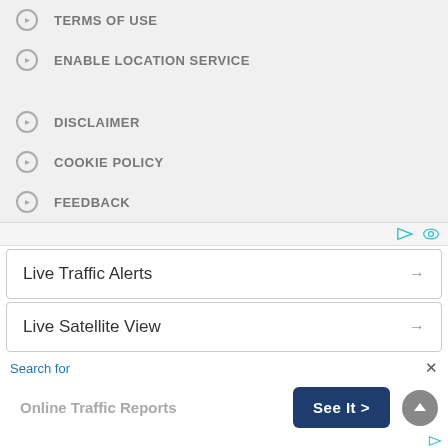TERMS OF USE
ENABLE LOCATION SERVICE
DISCLAIMER
COOKIE POLICY
FEEDBACK
Copyright © 2022 Roadnow LLC. All Rights Reserved.
Live Traffic Alerts →
Live Satellite View →
Search for
Online Traffic Reports
See It >